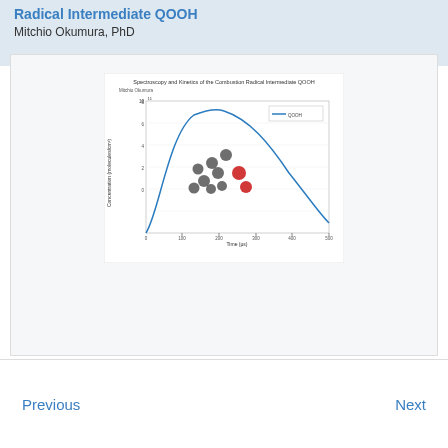Radical Intermediate QOOH
Mitchio Okumura, PhD
[Figure (continuous-plot): A plot titled 'Spectroscopy and Kinetics of the Combustion Radical Intermediate QOOH' by Mitchio Okumura. The chart shows Concentration (molecules/cm^3) on the y-axis (scale ~10^11) versus Time (μs) on the x-axis (0 to 500). A blue curve rises sharply then decays gradually. A molecular ball-and-stick model of QOOH is overlaid on the chart, showing carbon (grey) and oxygen (red) atoms. A legend labels the blue curve as QOOH.]
Previous
Next